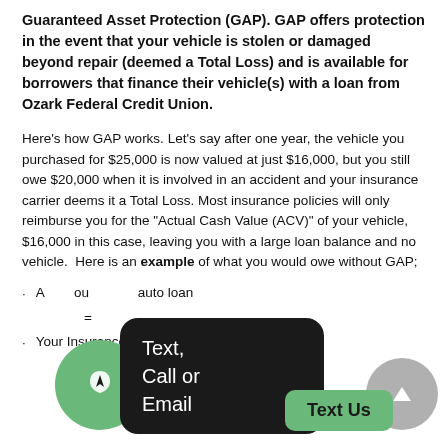Guaranteed Asset Protection (GAP). GAP offers protection in the event that your vehicle is stolen or damaged beyond repair (deemed a Total Loss) and is available for borrowers that finance their vehicle(s) with a loan from Ozark Federal Credit Union.
Here's how GAP works. Let's say after one year, the vehicle you purchased for $25,000 is now valued at just $16,000, but you still owe $20,000 when it is involved in an accident and your insurance carrier deems it a Total Loss. Most insurance policies will only reimburse you for the "Actual Cash Value (ACV)" of your vehicle, $16,000 in this case, leaving you with a large loan balance and no vehicle.  Here is an example of what you would owe without GAP;
Amount you owe on your auto loan
Your Insurance Company Pays
= $16,000
[Figure (other): Dark rounded tooltip overlay showing 'Text, Call or Email' with a green circle icon (bookmark/flag) and a green 'Text Us' button. A gray circle with an up-arrow is also visible.]